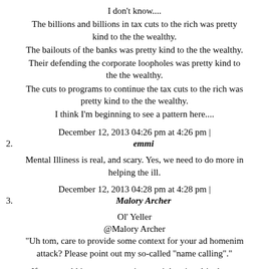I don't know....
The billions and billions in tax cuts to the rich was pretty kind to the the wealthy.
The bailouts of the banks was pretty kind to the the wealthy.
Their defending the corporate loopholes was pretty kind to the the wealthy.
The cuts to programs to continue the tax cuts to the rich was pretty kind to the the wealthy.
I think I'm beginning to see a pattern here....
December 12, 2013 04:26 pm at 4:26 pm |
2.
emmi
Mental Illiness is real, and scary. Yes, we need to do more in helping the ill.
December 12, 2013 04:28 pm at 4:28 pm |
3.
Malory Archer
Ol' Yeller
@Malory Archer
"Uh tom, care to provide some context for your ad homenim attack? Please point out my so-called "name calling"."
If you would just post some insane right wing drivel, you can call anybody (as long as they are on the left or in the